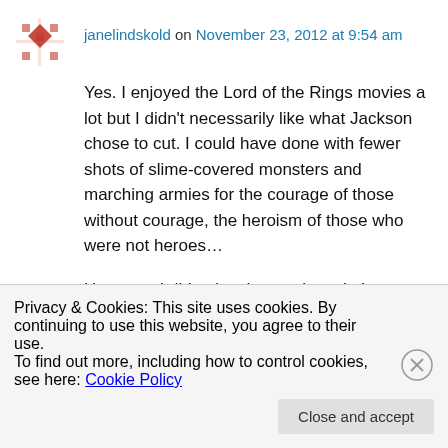janelindskold on November 23, 2012 at 9:54 am
Yes. I enjoyed the Lord of the Rings movies a lot but I didn't necessarily like what Jackson chose to cut. I could have done with fewer shots of slime-covered monsters and marching armies for the courage of those without courage, the heroism of those who were not heroes…
However, I did enjoy the movies a lot!
↵ Reply
Privacy & Cookies: This site uses cookies. By continuing to use this website, you agree to their use.
To find out more, including how to control cookies, see here: Cookie Policy
Close and accept